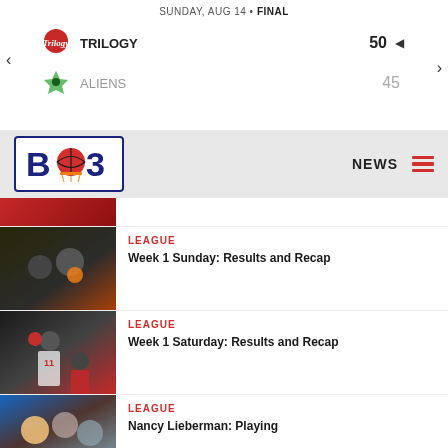SUNDAY, AUG 14 • FINAL
| Team | Score |
| --- | --- |
| TRILOGY | 50 |
| ALIENS | 45 |
[Figure (logo): BIG3 basketball league logo]
NEWS
[Figure (photo): Basketball player in orange uniform dribbling]
LEAGUE
Week 1 Sunday: Results and Recap
[Figure (photo): Basketball player in white uniform #11 going for layup]
LEAGUE
Week 1 Saturday: Results and Recap
[Figure (photo): Basketball players scrambling for ball]
LEAGUE
Nancy Lieberman: Playing